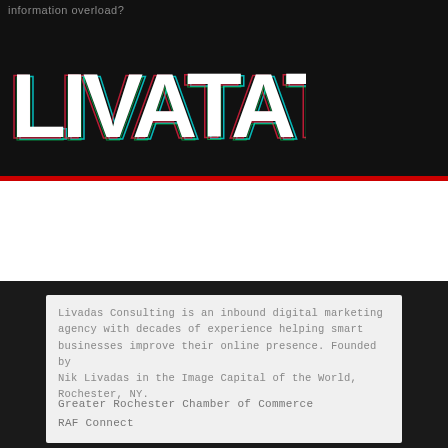information overload?
[Figure (logo): LIVATAT logo with glitch/chromatic aberration effect in white, red, green, and cyan on black background]
Livadas Consulting is an inbound digital marketing agency with decades of experience helping smart businesses improve their online presence. Founded by Nik Livadas in the Image Capital of the World, Rochester, NY.
Greater Rochester Chamber of Commerce
RAF Connect